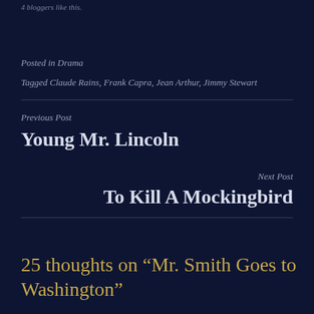4 bloggers like this.
Posted in Drama
Tagged Claude Rains, Frank Capra, Jean Arthur, Jimmy Stewart
Previous Post
Young Mr. Lincoln
Next Post
To Kill A Mockingbird
25 thoughts on “Mr. Smith Goes to Washington”